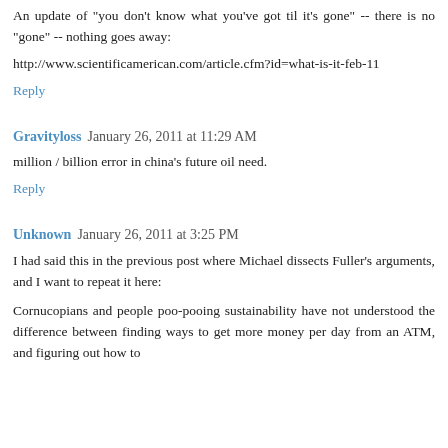An update of "you don't know what you've got til it's gone" -- there is no "gone" -- nothing goes away:
http://www.scientificamerican.com/article.cfm?id=what-is-it-feb-11
Reply
Gravityloss  January 26, 2011 at 11:29 AM
million / billion error in china's future oil need.
Reply
Unknown  January 26, 2011 at 3:25 PM
I had said this in the previous post where Michael dissects Fuller's arguments, and I want to repeat it here:
Cornucopians and people poo-pooing sustainability have not understood the difference between finding ways to get more money per day from an ATM, and figuring out how to